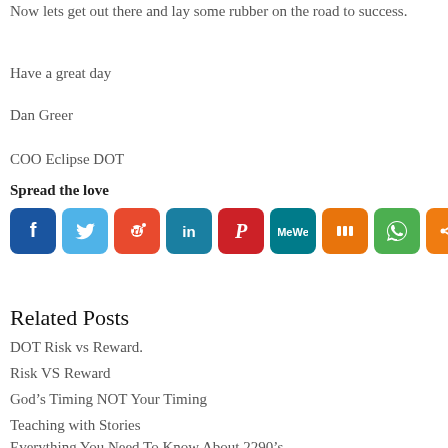Now lets get out there and lay some rubber on the road to success.
Have a great day
Dan Greer
COO Eclipse DOT
Spread the love
[Figure (infographic): Row of social media sharing icons: Facebook (dark blue), Twitter (light blue), Reddit (orange-red), LinkedIn (dark blue-teal), Pinterest (red), MeWe (teal), Mix (orange), WhatsApp (green), Share (orange)]
Related Posts
DOT Risk vs Reward.
Risk VS Reward
God’s Timing NOT Your Timing
Teaching with Stories
Everything You Need To Know About 2290’s